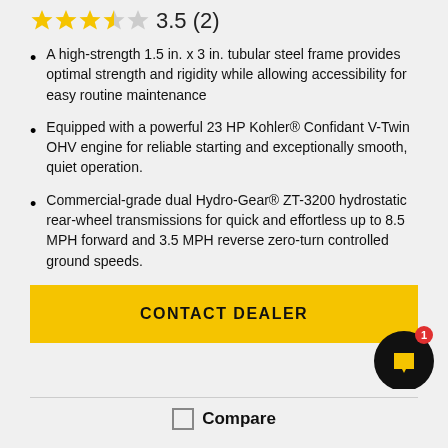3.5 (2) — star rating
A high-strength 1.5 in. x 3 in. tubular steel frame provides optimal strength and rigidity while allowing accessibility for easy routine maintenance
Equipped with a powerful 23 HP Kohler® Confidant V-Twin OHV engine for reliable starting and exceptionally smooth, quiet operation.
Commercial-grade dual Hydro-Gear® ZT-3200 hydrostatic rear-wheel transmissions for quick and effortless up to 8.5 MPH forward and 3.5 MPH reverse zero-turn controlled ground speeds.
CONTACT DEALER
Compare